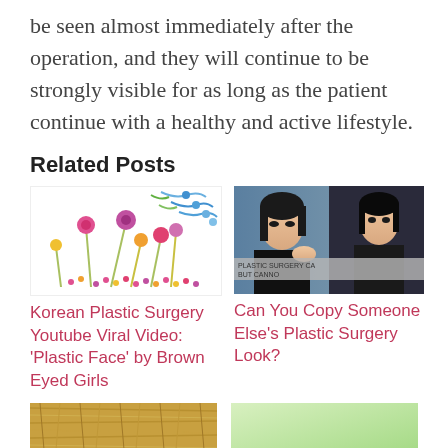be seen almost immediately after the operation, and they will continue to be strongly visible for as long as the patient continue with a healthy and active lifestyle.
Related Posts
[Figure (illustration): Decorative floral illustration with colorful flowers and stems on white background]
[Figure (photo): Asian woman in black outfit against a blue background, with text overlay reading 'PLASTIC SURGERY CA... BUT CANNO...']
Korean Plastic Surgery Youtube Viral Video: ‘Plastic Face’ by Brown Eyed Girls
Can You Copy Someone Else’s Plastic Surgery Look?
[Figure (photo): Photo of straw/hay texture]
[Figure (photo): Light green background photo]